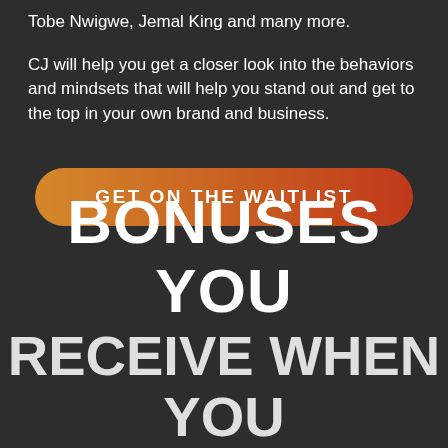Tobe Nwigwe, Jemal King and many more.
CJ will help you get a closer look into the behaviors and mindsets that will help you stand out and get to the top in your own brand and business.
[Figure (other): Button with gradient background (orange to red) reading GET ON THE WAITLIST in white bold uppercase letters]
BONUSES YOU